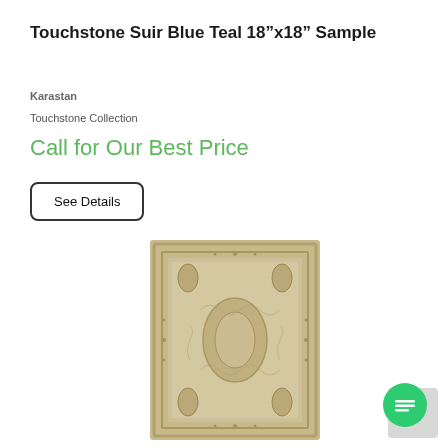Touchstone Suir Blue Teal 18"x18" Sample
Karastan
Touchstone Collection
Call for Our Best Price
See Details
[Figure (photo): Beige/cream colored ornamental area rug with traditional medallion pattern and decorative border, shown as a product sample.]